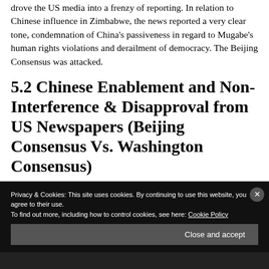drove the US media into a frenzy of reporting. In relation to Chinese influence in Zimbabwe, the news reported a very clear tone, condemnation of China's passiveness in regard to Mugabe's human rights violations and derailment of democracy. The Beijing Consensus was attacked.
5.2 Chinese Enablement and Non-Interference & Disapproval from US Newspapers (Beijing Consensus Vs. Washington Consensus)
Privacy & Cookies: This site uses cookies. By continuing to use this website, you agree to their use.
To find out more, including how to control cookies, see here: Cookie Policy